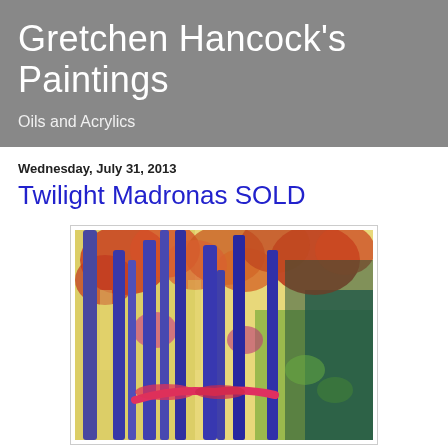Gretchen Hancock's Paintings
Oils and Acrylics
Wednesday, July 31, 2013
Twilight Madronas SOLD
[Figure (photo): A colorful expressionist painting of madrona trees with vivid orange, red, and blue foliage against a warm yellow-green background, with a pink/red horizontal branch or animal figure near the bottom.]